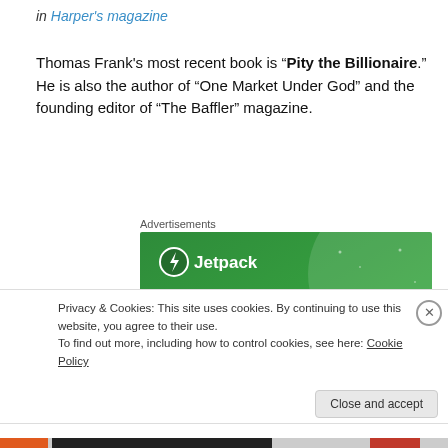in Harper's magazine
Thomas Frank's most recent book is “Pity the Billionaire.” He is also the author of “One Market Under God” and the founding editor of “The Baffler” magazine.
Advertisements
[Figure (other): Jetpack advertisement banner with green background showing logo and text 'The best real-time WordPress backup']
Privacy & Cookies: This site uses cookies. By continuing to use this website, you agree to their use.
To find out more, including how to control cookies, see here: Cookie Policy
Close and accept